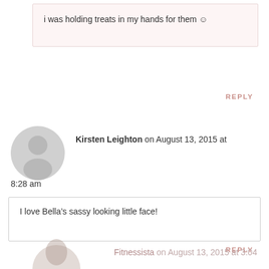i was holding treats in my hands for them ☺
REPLY
[Figure (illustration): Gray default user avatar circle with silhouette]
Kirsten Leighton on August 13, 2015 at 8:28 am
I love Bella’s sassy looking little face!
REPLY
[Figure (photo): Partial photo of Fitnessista author avatar]
Fitnessista on August 13, 2015 at 3:04